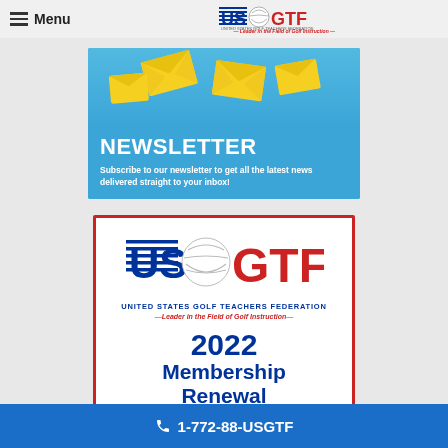Menu — USGTF United States Golf Teachers Federation — Leader in the Field of Golf Instruction
[Figure (illustration): Newsletter subscription banner with yellow envelopes flying on a blue background, with bold white text 'NEWSLETTER' and subtitle 'Subscribe to our newsletter to get all the latest news delivered straight to your inbox!']
[Figure (logo): USGTF logo with large red GTF letters, blue US text, golf ball graphic, text 'UNITED STATES GOLF TEACHERS FEDERATION' and tagline '—Leader in the Field of Golf Instruction—' followed by '2022 Membership Renewal' text in blue]
1-772-88-USGTF